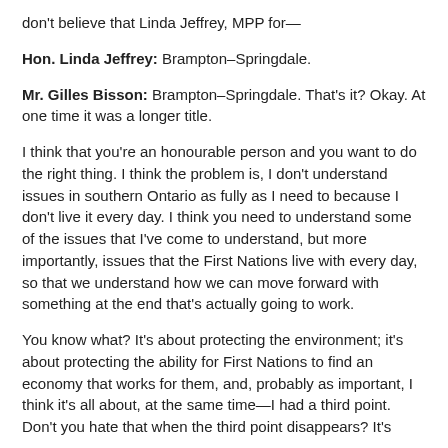don't believe that Linda Jeffrey, MPP for—
Hon. Linda Jeffrey: Brampton–Springdale.
Mr. Gilles Bisson: Brampton–Springdale. That's it? Okay. At one time it was a longer title.
I think that you're an honourable person and you want to do the right thing. I think the problem is, I don't understand issues in southern Ontario as fully as I need to because I don't live it every day. I think you need to understand some of the issues that I've come to understand, but more importantly, issues that the First Nations live with every day, so that we understand how we can move forward with something at the end that's actually going to work.
You know what? It's about protecting the environment; it's about protecting the ability for First Nations to find an economy that works for them, and, probably as important, I think it's all about, at the same time—I had a third point. Don't you hate that when the third point disappears? It's